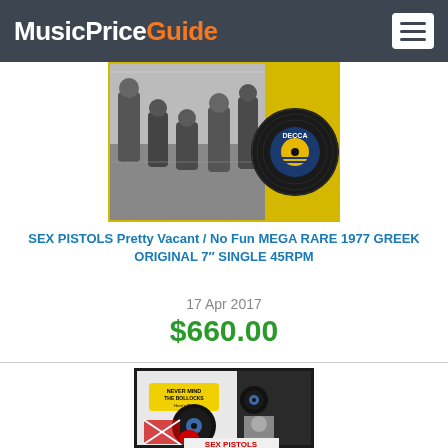MusicPriceGuide
[Figure (photo): Sex Pistols record cover and Decca vinyl single 7 inch]
SEX PISTOLS Pretty Vacant / No Fun MEGA RARE 1977 GREEK ORIGINAL 7" SINGLE 45RPM
17 Apr 2017
$660.00
[Figure (photo): Never Mind The Bollocks Sex Pistols album cover display with vinyl records]